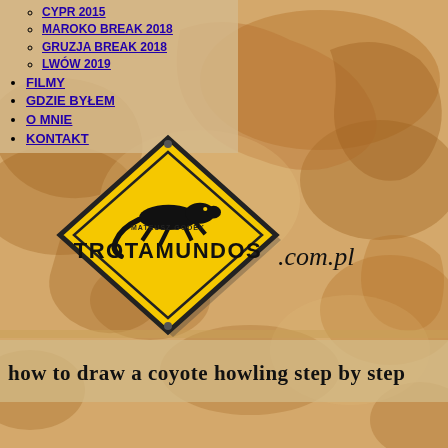CYPR 2015
MAROKO BREAK 2018
GRUZJA BREAK 2018
LWÓW 2019
FILMY
GDZIE BYŁEM
O MNIE
KONTAKT
[Figure (logo): Trotamundos.com.pl travel blog logo — yellow diamond-shaped road sign with a lizard/gecko silhouette and text MATEUSZ GODEK TROTAMUNDOS, with .com.pl written in cursive to the right, set against a vintage world map background]
how to draw a coyote howling step by step